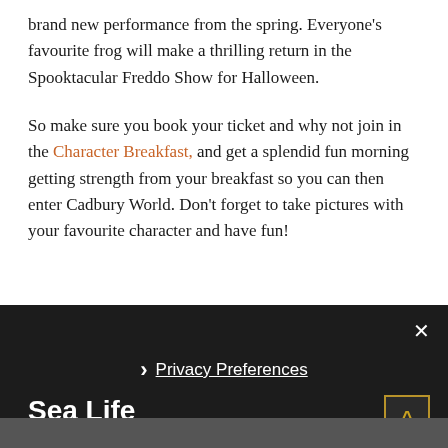brand new performance from the spring. Everyone's favourite frog will make a thrilling return in the Spooktacular Freddo Show for Halloween.
So make sure you book your ticket and why not join in the Character Breakfast, and get a splendid fun morning getting strength from your breakfast so you can then enter Cadbury World. Don't forget to take pictures with your favourite character and have fun!
× › Privacy Preferences I Agree
Sea Life Birmingham